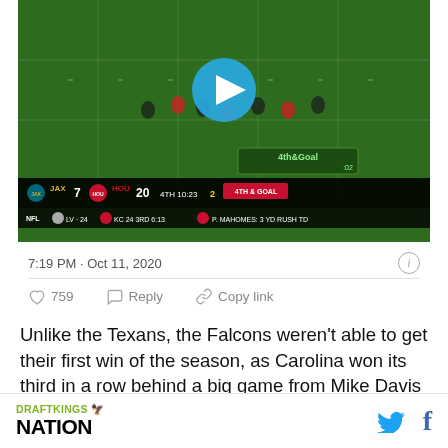[Figure (screenshot): Football game screenshot showing NFL scoreboard with JAX 7 vs HOU 20, 4th quarter 10:23, 4th & Goal. Ticker shows LV 24 vs KC 24. Large play button overlay in center.]
7:19 PM · Oct 11, 2020
759   Reply   Copy link
Unlike the Texans, the Falcons weren't able to get their first win of the season, as Carolina won its third in a row behind a big game from Mike Davis ($6,400; 29.9 DKFP). Teddy Bridgewater ($5,900; 23.82 DKFP) also had a solid day working with both D.J. Moore ($6,000; 19.3 DKFP) and Robby Anderson ($5,900;
DRAFTKINGS NATION